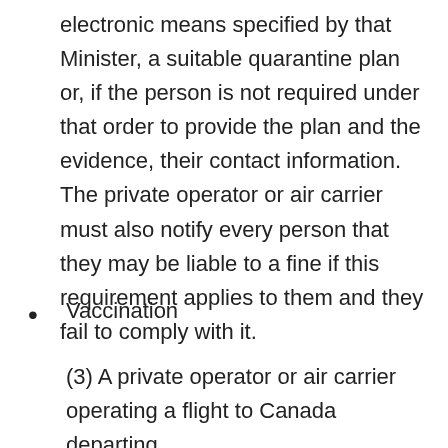electronic means specified by that Minister, a suitable quarantine plan or, if the person is not required under that order to provide the plan and the evidence, their contact information. The private operator or air carrier must also notify every person that they may be liable to a fine if this requirement applies to them and they fail to comply with it.
Vaccination
(3) A private operator or air carrier operating a flight to Canada departing